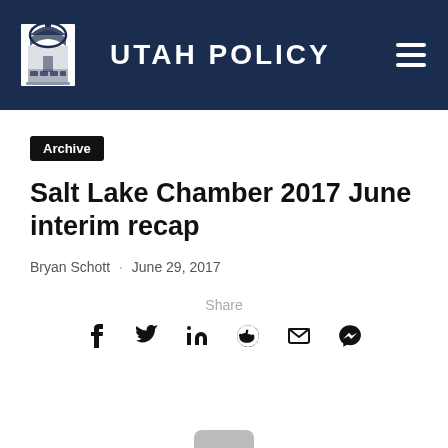UTAH POLICY
Archive
Salt Lake Chamber 2017 June interim recap
Bryan Schott · June 29, 2017
Share
[Figure (other): Social share icons: Facebook, Twitter, LinkedIn, Reddit, Email, Messenger]